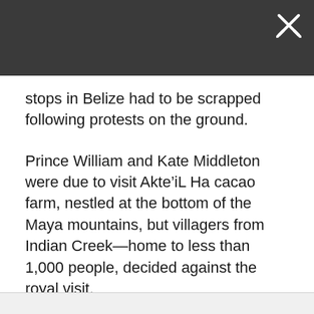stops in Belize had to be scrapped following protests on the ground.
Prince William and Kate Middleton were due to visit Akte’iL Ha cacao farm, nestled at the bottom of the Maya mountains, but villagers from Indian Creek—home to less than 1,000 people, decided against the royal visit.
Locals felt the way the visit had been planned without their consent raised issues of “colonialism”.